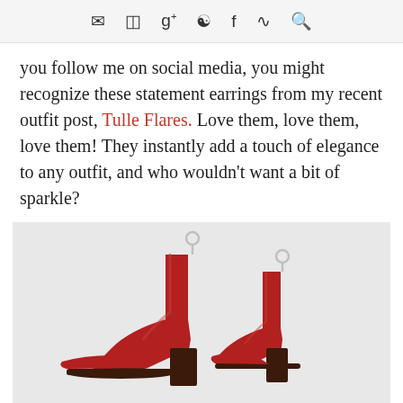✉ ☷ g+ ℗ f ☊ 🔍
you follow me on social media, you might recognize these statement earrings from my recent outfit post, Tulle Flares.  Love them, love them, love them!  They instantly add a touch of elegance to any outfit, and who wouldn't want a bit of sparkle?
[Figure (photo): Two red ankle boot earrings with silver earring hooks on a light gray/white background. The boots are shiny red leather with block heels and pointed toes.]